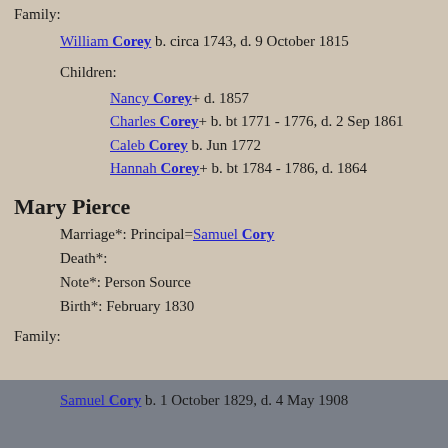Family:
William Corey b. circa 1743, d. 9 October 1815
Children:
Nancy Corey+ d. 1857
Charles Corey+ b. bt 1771 - 1776, d. 2 Sep 1861
Caleb Corey b. Jun 1772
Hannah Corey+ b. bt 1784 - 1786, d. 1864
Mary Pierce
Marriage*: Principal=Samuel Cory
Death*:
Note*: Person Source
Birth*: February 1830
Family:
Samuel Cory b. 1 October 1829, d. 4 May 1908